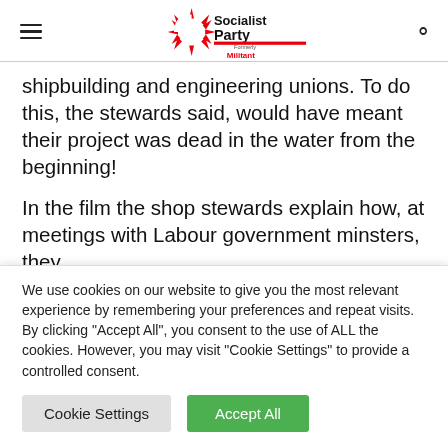Socialist Party (formerly Militant) — site header with hamburger menu and search icon
shipbuilding and engineering unions. To do this, the stewards said, would have meant their project was dead in the water from the beginning!
In the film the shop stewards explain how, at meetings with Labour government minsters, they were given the run-around and fobbed off to the
We use cookies on our website to give you the most relevant experience by remembering your preferences and repeat visits. By clicking "Accept All", you consent to the use of ALL the cookies. However, you may visit "Cookie Settings" to provide a controlled consent.